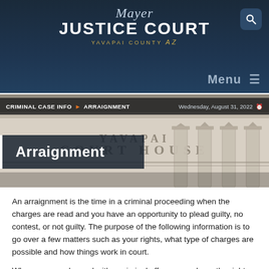Mayer Justice Court — Yavapai County AZ
Menu
CRIMINAL CASE INFO > ARRAIGNMENT — Wednesday, August 31, 2022
[Figure (photo): Exterior photo of a courthouse building with stone columns and engraved text 'YAVAPAI COUNTY COURT HOUSE']
Arraignment
An arraignment is the time in a criminal proceeding when the charges are read and you have an opportunity to plead guilty, no contest, or not guilty. The purpose of the following information is to go over a few matters such as your rights, what type of charges are possible and how things work in court.
When you are charged with a criminal offense, you have the right